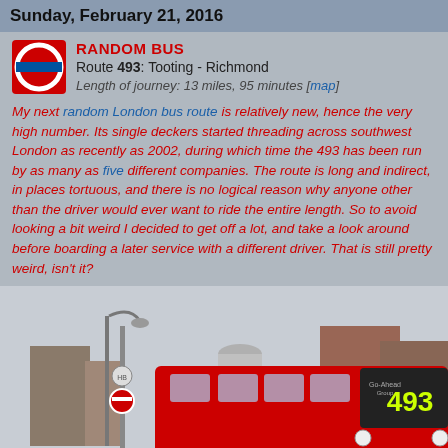Sunday, February 21, 2016
RANDOM BUS
Route 493: Tooting - Richmond
Length of journey: 13 miles, 95 minutes [map]
My next random London bus route is relatively new, hence the very high number. Its single deckers started threading across southwest London as recently as 2002, during which time the 493 has been run by as many as five different companies. The route is long and indirect, in places tortuous, and there is no logical reason why anyone other than the driver would ever want to ride the entire length. So to avoid looking a bit weird I decided to get off a lot, and take a look around before boarding a later service with a different driver. That is still pretty weird, isn't it?
[Figure (photo): A red London double-decker bus number 493 operated by Go-Ahead Group (SE177), shown at a bus stop with a street lamp and urban buildings in the background.]